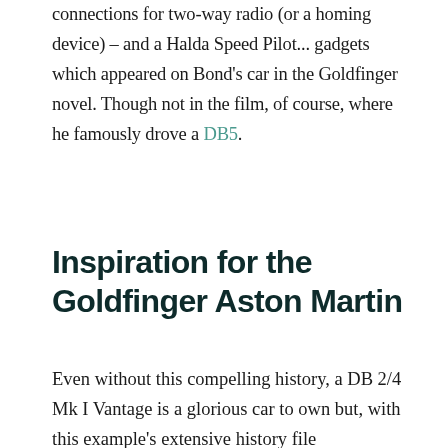connections for two-way radio (or a homing device) – and a Halda Speed Pilot... gadgets which appeared on Bond's car in the Goldfinger novel. Though not in the film, of course, where he famously drove a DB5.
Inspiration for the Goldfinger Aston Martin
Even without this compelling history, a DB 2/4 Mk I Vantage is a glorious car to own but, with this example's extensive history file